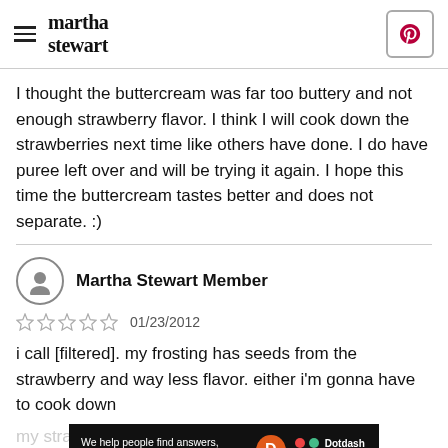martha stewart
I thought the buttercream was far too buttery and not enough strawberry flavor. I think I will cook down the strawberries next time like others have done. I do have puree left over and will be trying it again. I hope this time the buttercream tastes better and does not separate. :)
Martha Stewart Member
01/23/2012
i call [filtered]. my frosting has seeds from the strawberry and way less flavor. either i'm gonna have to cook down my st... the fact th... and
[Figure (other): Dotdash Meredith advertisement banner: 'We help people find answers, solve problems and get inspired.' with Dotdash Meredith logo]